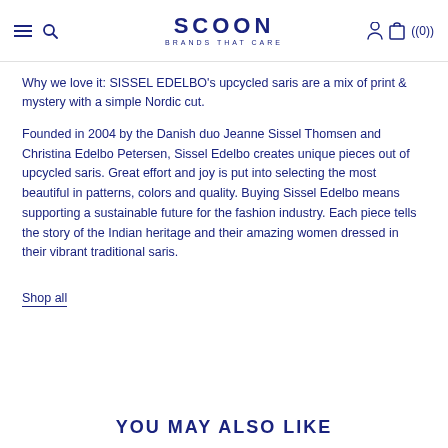SCOON BRANDS THAT CARE ((0))
Why we love it: SISSEL EDELBO's upcycled saris are a mix of print & mystery with a simple Nordic cut.
Founded in 2004 by the Danish duo Jeanne Sissel Thomsen and Christina Edelbo Petersen, Sissel Edelbo creates unique pieces out of upcycled saris. Great effort and joy is put into selecting the most beautiful in patterns, colors and quality. Buying Sissel Edelbo means supporting a sustainable future for the fashion industry. Each piece tells the story of the Indian heritage and their amazing women dressed in their vibrant traditional saris.
Shop all
YOU MAY ALSO LIKE